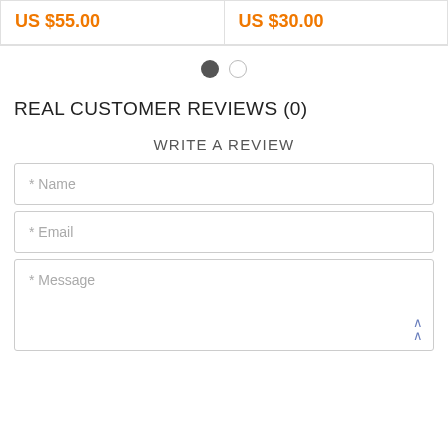US $55.00
US $30.00
[Figure (other): Carousel pagination dots: one filled dark circle and one empty circle outline]
REAL CUSTOMER REVIEWS (0)
WRITE A REVIEW
* Name
* Email
* Message